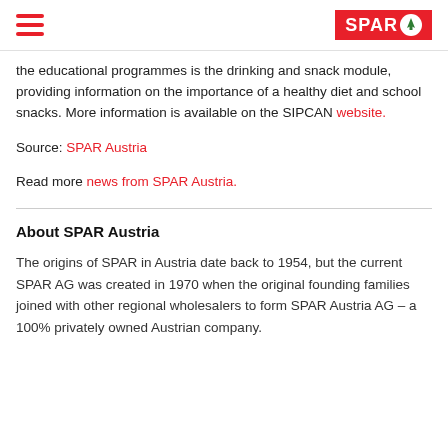SPAR (hamburger menu and SPAR logo)
the educational programmes is the drinking and snack module, providing information on the importance of a healthy diet and school snacks. More information is available on the SIPCAN website.
Source: SPAR Austria
Read more news from SPAR Austria.
About SPAR Austria
The origins of SPAR in Austria date back to 1954, but the current SPAR AG was created in 1970 when the original founding families joined with other regional wholesalers to form SPAR Austria AG – a 100% privately owned Austrian company.